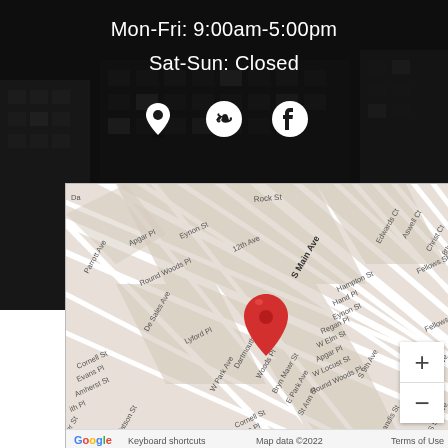Mon-Fri: 9:00am-5:00pm
Sat-Sun: Closed
[Figure (infographic): Social media icons row: location pin, Yelp logo, Facebook logo]
[Figure (map): Google Maps embed showing S Main Ave area with a red location pin marker. Surrounding streets include Rock St, Eynon St, 12th Ave, Round Woods Pl, Apgar Pl, Hampton St, Hand Pl, Regan Pl, W Elm St, W Locust St, Dartmouth St, Woods Pl, Bryn Mawr St, E Park Ave, St Ann St, Cornell St, Evans Pl, Amherst St, S 9th Ave, Landis St, Roland Ave, S 6th Ave, S 5th Ave, Fellows St, 8th Ave, Christ Ct, Aswell Ct, Edwards Ct.]